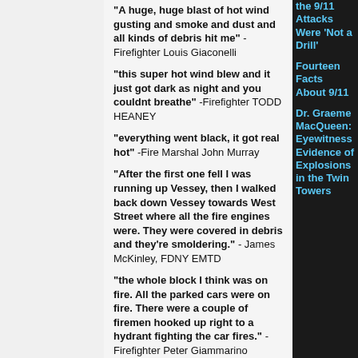"A huge, huge blast of hot wind gusting and smoke and dust and all kinds of debris hit me" - Firefighter Louis Giaconelli
"this super hot wind blew and it just got dark as night and you couldnt breathe" -Firefighter TODD HEANEY
"everything went black, it got real hot" -Fire Marshal John Murray
"After the first one fell I was running up Vessey, then I walked back down Vessey towards West Street where all the fire engines were. They were covered in debris and they're smoldering." - James McKinley, FDNY EMTD
"the whole block I think was on fire. All the parked cars were on fire. There were a couple of firemen hooked up right to a hydrant fighting the car fires." -Firefighter Peter Giammarino
"Q. Everybody tells me all these vehicles were on fire. What do you attribute all these vehicles being on fire to?
A. I believe it must have been from the debris falling and the heat just started hitting the cars
the 9/11 Attacks Were 'Not a Drill'
Fourteen Facts About 9/11
Dr. Graeme MacQueen: Eyewitness Evidence of Explosions in the Twin Towers